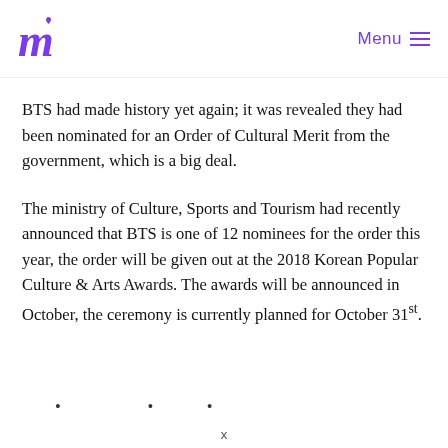Menu
BTS had made history yet again; it was revealed they had been nominated for an Order of Cultural Merit from the government, which is a big deal.
The ministry of Culture, Sports and Tourism had recently announced that BTS is one of 12 nominees for the order this year, the order will be given out at the 2018 Korean Popular Culture & Arts Awards. The awards will be announced in October, the ceremony is currently planned for October 31st.
...